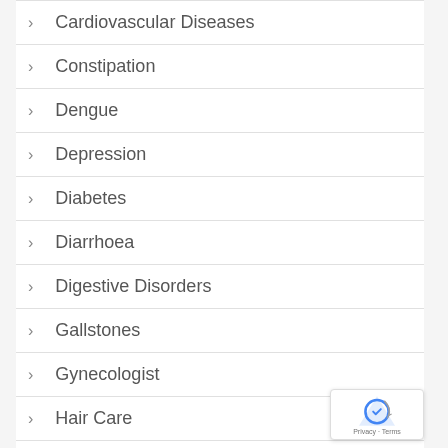Cardiovascular Diseases
Constipation
Dengue
Depression
Diabetes
Diarrhoea
Digestive Disorders
Gallstones
Gynecologist
Hair Care
Hyperacidity & Gas Problems